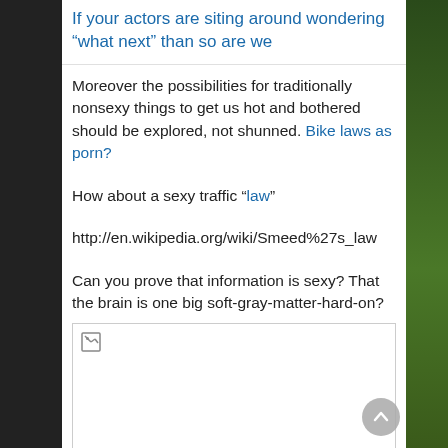If your actors are siting around wondering “what next” than so are we
Moreover the possibilities for traditionally nonsexy things to get us hot and bothered should be explored, not shunned. Bike laws as porn?
How about a sexy traffic “law”
http://en.wikipedia.org/wiki/Smeed%27s_law
Can you prove that information is sexy? That the brain is one big soft-gray-matter-hard-on?
[Figure (photo): Broken image placeholder box]